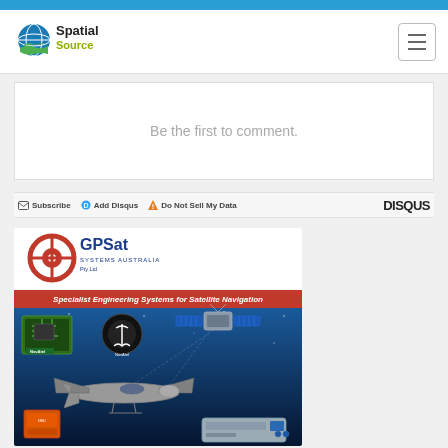[Figure (logo): Spatial Source logo with globe icon]
Be the first to comment.
Subscribe  Add Disqus  Do Not Sell My Data  DISQUS
[Figure (illustration): GPSat Systems Australia advertisement for Specialist Engineering Systems for Satellite Navigation, featuring UAV drone, circuit board, satellite, NovAtel logo, and navigation devices]